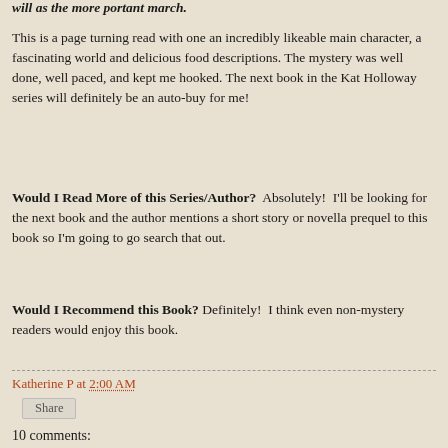will as the more portant march.
This is a page turning read with one an incredibly likeable main character, a fascinating world and delicious food descriptions. The mystery was well done, well paced, and kept me hooked. The next book in the Kat Holloway series will definitely be an auto-buy for me!
Would I Read More of this Series/Author?  Absolutely!  I'll be looking for the next book and the author mentions a short story or novella prequel to this book so I'm going to go search that out.
Would I Recommend this Book?  Definitely!  I think even non-mystery readers would enjoy this book.
Katherine P at 2:00 AM
Share
10 comments: